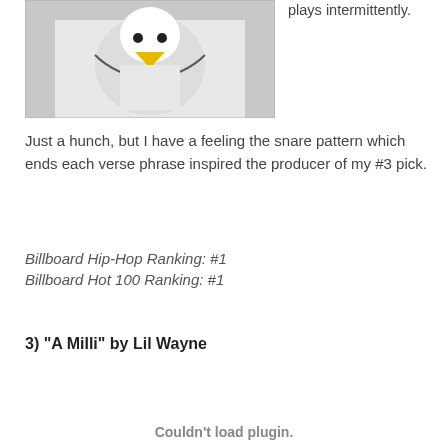[Figure (photo): Photo of a person wearing a white t-shirt with a cartoon eagle or bird graphic with yellow and black colors]
plays intermittently.
Just a hunch, but I have a feeling the snare pattern which ends each verse phrase inspired the producer of my #3 pick.
Billboard Hip-Hop Ranking: #1
Billboard Hot 100 Ranking: #1
3) “A Milli” by Lil Wayne
Couldn’t load plugin.